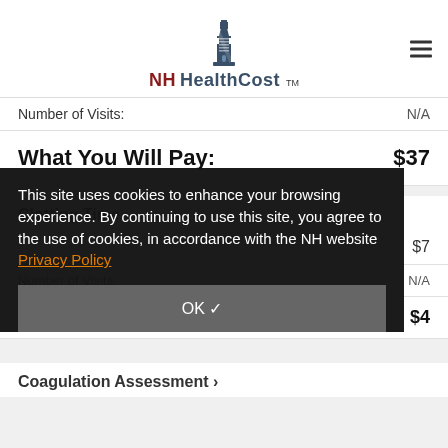[Figure (logo): NH HealthCost lighthouse logo with text 'NH HealthCost TM']
Number of Visits:  N/A
What You Will Pay:  $37
Clotting Time ›
Cookie notice: This site uses cookies to enhance your browsing experience. By continuing to use this site, you agree to the use of cookies, in accordance with the NH website Privacy Policy
$7
Number of Visits: N/A
What You Will Pay: $4
Coagulation Assessment ›